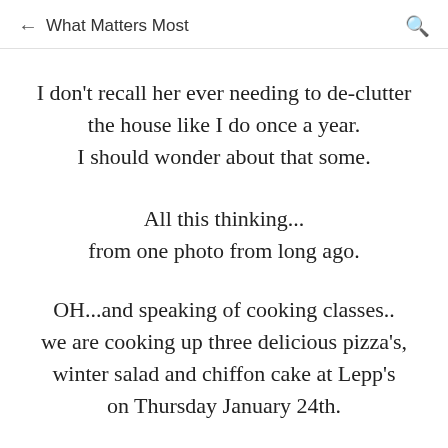← What Matters Most 🔍
I don't recall her ever needing to de-clutter the house like I do once a year.
I should wonder about that some.
All this thinking...
from one photo from long ago.
OH...and speaking of cooking classes..
we are cooking up three delicious pizza's, winter salad and chiffon cake at Lepp's
on Thursday January 24th.